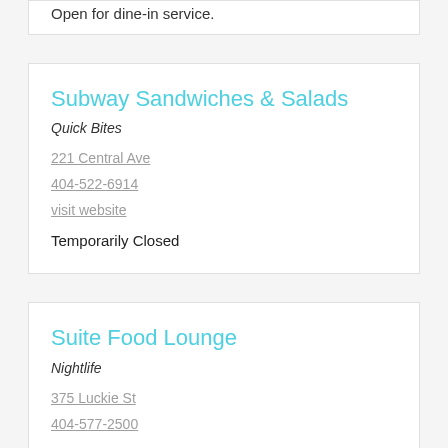Open for dine-in service.
Subway Sandwiches & Salads
Quick Bites
221 Central Ave
404-522-6914
visit website
Temporarily Closed
Suite Food Lounge
Nightlife
375 Luckie St
404-577-2500